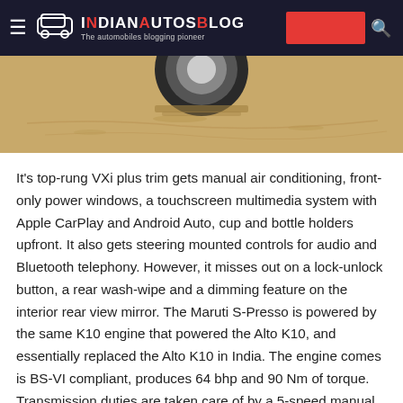IndianAutosBlog - The automobiles blogging pioneer
[Figure (photo): Close-up photo of a car wheel/tire on sandy ground]
It's top-rung VXi plus trim gets manual air conditioning, front-only power windows, a touchscreen multimedia system with Apple CarPlay and Android Auto, cup and bottle holders upfront. It also gets steering mounted controls for audio and Bluetooth telephony. However, it misses out on a lock-unlock button, a rear wash-wipe and a dimming feature on the interior rear view mirror. The Maruti S-Presso is powered by the same K10 engine that powered the Alto K10, and essentially replaced the Alto K10 in India. The engine comes is BS-VI compliant, produces 64 bhp and 90 Nm of torque. Transmission duties are taken care of by a 5-speed manual transmission as standard. There's also an AMT on offer.